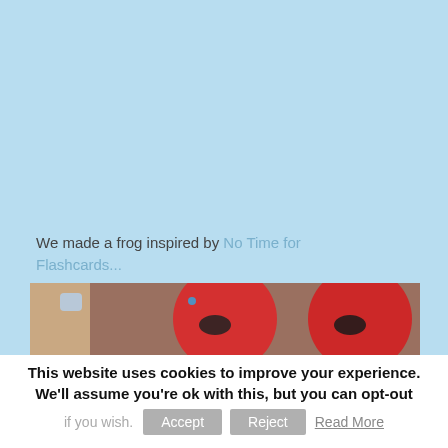[Figure (photo): Light blue background area representing a webpage screenshot with a frog craft image]
We made a frog inspired by No Time for Flashcards...
[Figure (photo): Photo strip showing red circular craft items resembling frog faces with black details, held by a person]
This website uses cookies to improve your experience. We'll assume you're ok with this, but you can opt-out if you wish. Accept Reject Read More